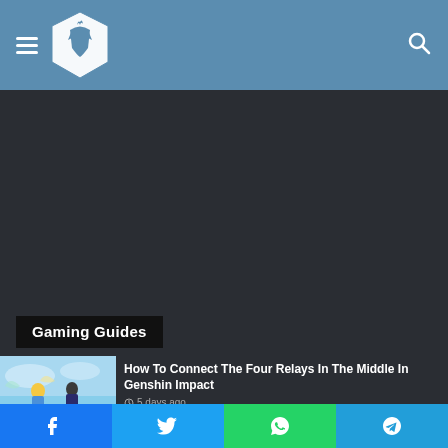Gaming website header with hamburger menu, logo, and search icon
[Figure (illustration): Dark content area placeholder (advertisement or hero image area) with dark background #2a2d33]
Gaming Guides
[Figure (illustration): Article thumbnail image showing anime-style characters from Genshin Impact]
How To Connect The Four Relays In The Middle In Genshin Impact
5 days ago
Social share bar: Facebook, Twitter, WhatsApp, Telegram